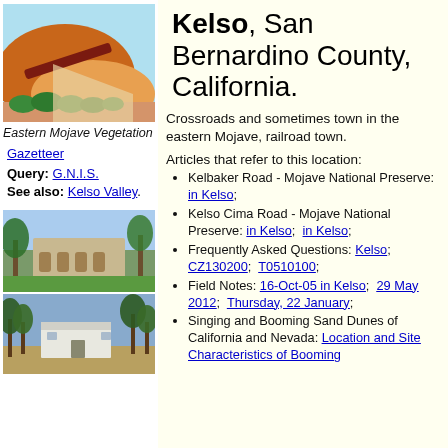[Figure (illustration): Illustration of Eastern Mojave desert landscape with sand dune, orange hill, dark reddish beam/log, green shrubs, and light blue sky background]
Eastern Mojave Vegetation
Gazetteer
Query: G.N.I.S.
See also: Kelso Valley.
[Figure (photo): Photo of a building with palm trees and green lawn]
[Figure (photo): Photo of a small white building surrounded by trees and desert vegetation]
Kelso, San Bernardino County, California.
Crossroads and sometimes town in the eastern Mojave, railroad town.
Articles that refer to this location:
Kelbaker Road - Mojave National Preserve: in Kelso;
Kelso Cima Road - Mojave National Preserve: in Kelso;  in Kelso;
Frequently Asked Questions: Kelso; CZ130200;  T0510100;
Field Notes: 16-Oct-05 in Kelso;  29 May 2012;  Thursday, 22 January;
Singing and Booming Sand Dunes of California and Nevada: Location and Site Characteristics of Booming